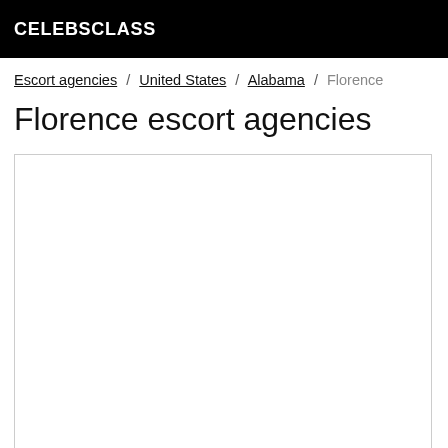CELEBSCLASS
Escort agencies / United States / Alabama / Florence
Florence escort agencies
[Figure (other): Empty white listing box with light gray border]